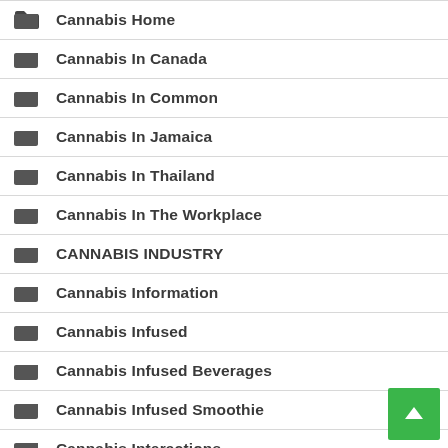Cannabis Home
Cannabis In Canada
Cannabis In Common
Cannabis In Jamaica
Cannabis In Thailand
Cannabis In The Workplace
CANNABIS INDUSTRY
Cannabis Information
Cannabis Infused
Cannabis Infused Beverages
Cannabis Infused Smoothie
Cannabis Interactions